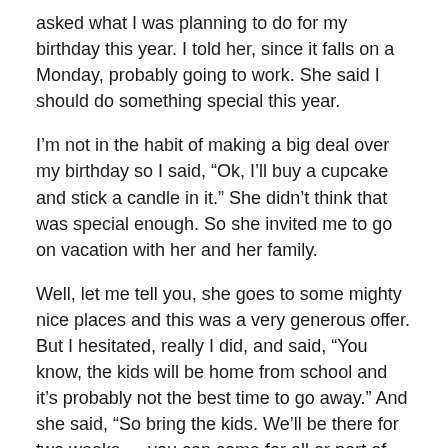asked what I was planning to do for my birthday this year. I told her, since it falls on a Monday, probably going to work. She said I should do something special this year.
I'm not in the habit of making a big deal over my birthday so I said, “Ok, I’ll buy a cupcake and stick a candle in it.” She didn’t think that was special enough. So she invited me to go on vacation with her and her family.
Well, let me tell you, she goes to some mighty nice places and this was a very generous offer. But I hesitated, really I did, and said, “You know, the kids will be home from school and it’s probably not the best time to go away.” And she said, “So bring the kids. We’ll be there for two weeks — you can come for all or part of that time.”
Hesitation vanished.